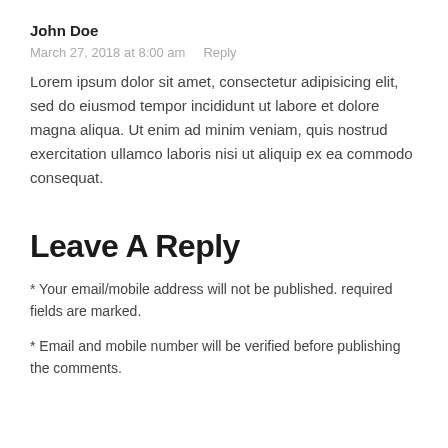John Doe
March 27, 2018 at 8:00 am    Reply
Lorem ipsum dolor sit amet, consectetur adipisicing elit, sed do eiusmod tempor incididunt ut labore et dolore magna aliqua. Ut enim ad minim veniam, quis nostrud exercitation ullamco laboris nisi ut aliquip ex ea commodo consequat.
Leave A Reply
* Your email/mobile address will not be published. required fields are marked.
* Email and mobile number will be verified before publishing the comments.